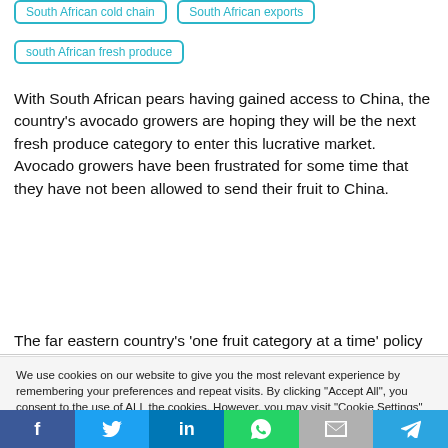South African cold chain
South African exports
south African fresh produce
With South African pears having gained access to China, the country's avocado growers are hoping they will be the next fresh produce category to enter this lucrative market. Avocado growers have been frustrated for some time that they have not been allowed to send their fruit to China.
The far eastern country's ‘one fruit category at a time’ policy
We use cookies on our website to give you the most relevant experience by remembering your preferences and repeat visits. By clicking “Accept All”, you consent to the use of ALL the cookies. However, you may visit "Cookie Settings" to provide a controlled consent.
f  Twitter  in  WhatsApp  Email  Telegram